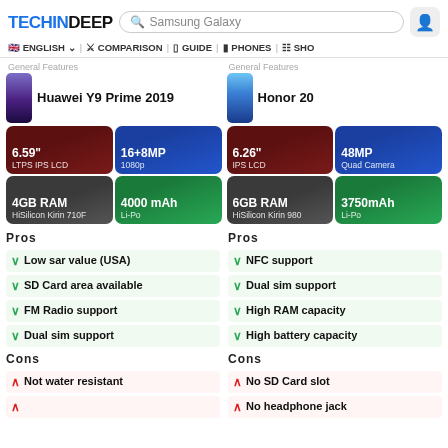TECHINDEEP | Search: Samsung Galaxy | ENGLISH | COMPARISON | GUIDE | PHONES | SHO
General Features  General Features
Huawei Y9 Prime 2019
Honor 20
| Spec | Huawei Y9 Prime 2019 | Honor 20 |
| --- | --- | --- |
| Display | 6.59" LTPS IPS LCD | 6.26" IPS LCD |
| Camera | 16+8MP / 1080p | 48MP Quad Camera |
| RAM | 4GB RAM / HiSilicon Kirin 710F | 6GB RAM / HiSilicon Kirin 980 |
| Battery | 4000 mAh Li-Po | 3750mAh Li-Po |
Pros
Low sar value (USA)
SD Card area available
FM Radio support
Dual sim support
Pros
NFC support
Dual sim support
High RAM capacity
High battery capacity
Cons
Not water resistant
Cons
No SD Card slot
No headphone jack